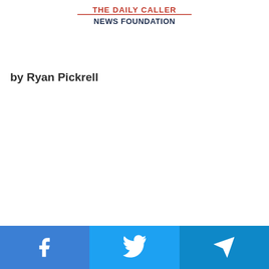The Daily Caller News Foundation
by Ryan Pickrell
[Figure (infographic): Social media share buttons bar at bottom: Facebook (blue), Twitter (light blue), Telegram (dark blue), each with white icon]